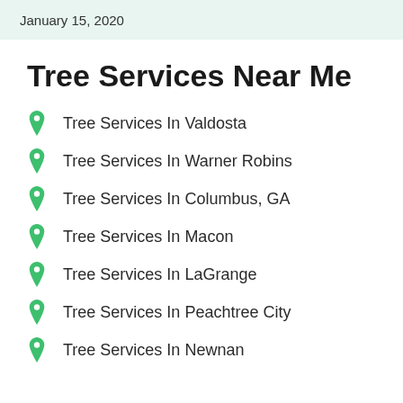January 15, 2020
Tree Services Near Me
Tree Services In Valdosta
Tree Services In Warner Robins
Tree Services In Columbus, GA
Tree Services In Macon
Tree Services In LaGrange
Tree Services In Peachtree City
Tree Services In Newnan